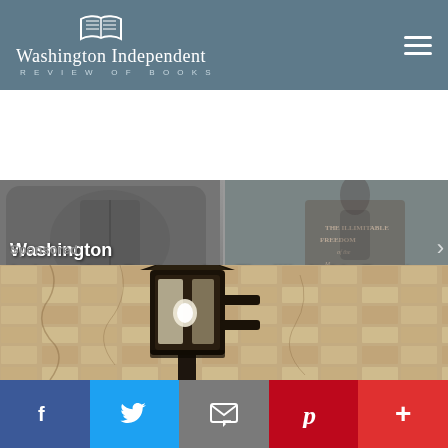[Figure (logo): Washington Independent Review of Books website header with book icon logo, site title and hamburger menu icon on teal/slate blue background]
[Figure (screenshot): Two carousel cards: left card shows 'Washington Independent Review of Books' text overlay on grey background; right card shows 'The Illimitable Freedom of the Human Mind: ...' text overlay on book cover photo]
Sponsored
[Figure (photo): Close-up photo of an outdoor lantern light fixture mounted on a stone/stucco wall]
[Figure (screenshot): Social share bar with Facebook, Twitter, Email, Pinterest, and More (+) buttons]